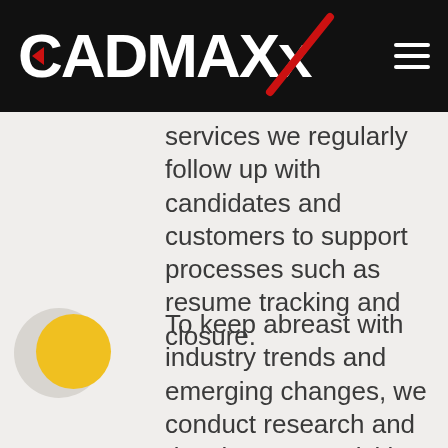CADMAXX
services we regularly follow up with candidates and customers to support processes such as resume tracking and closure.
To keep abreast with industry trends and emerging changes, we conduct research and development activities, including the adoption of novel strategies based on market dynamics.